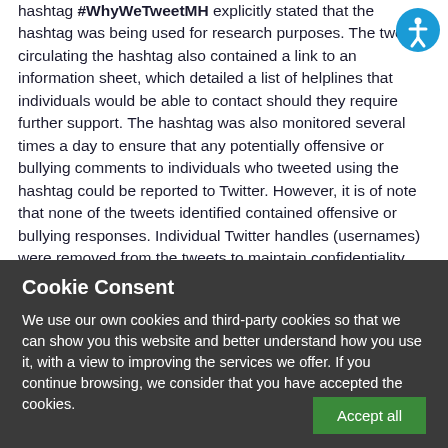hashtag #WhyWeTweetMH explicitly stated that the hashtag was being used for research purposes. The tweet circulating the hashtag also contained a link to an information sheet, which detailed a list of helplines that individuals would be able to contact should they require further support. The hashtag was also monitored several times a day to ensure that any potentially offensive or bullying comments to individuals who tweeted using the hashtag could be reported to Twitter. However, it is of note that none of the tweets identified contained offensive or bullying responses. Individual Twitter handles (usernames) were removed from the tweets to maintain confidentiality and after thematic
Cookie Consent
We use our own cookies and third-party cookies so that we can show you this website and better understand how you use it, with a view to improving the services we offer. If you continue browsing, we consider that you have accepted the cookies.
Accept all